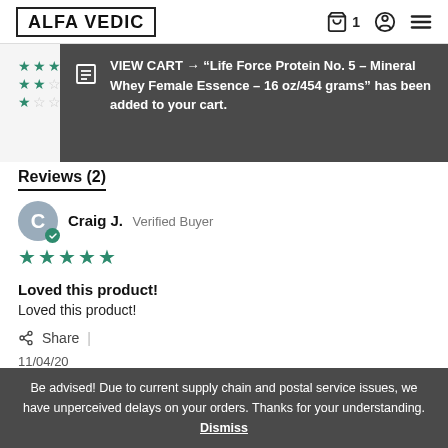ALFA VEDIC
[Figure (screenshot): Star rating breakdown showing 3-star, 2-star, and 1-star rows with filled and empty stars]
VIEW CART → "Life Force Protein No. 5 – Mineral Whey Female Essence – 16 oz/454 grams" has been added to your cart.
Reviews (2)
Craig J. Verified Buyer
[Figure (other): 5-star rating with filled green stars]
Loved this product!
Loved this product!
Share
11/04/20
Be advised! Due to current supply chain and postal service issues, we have unperceived delays on your orders. Thanks for your understanding. Dismiss